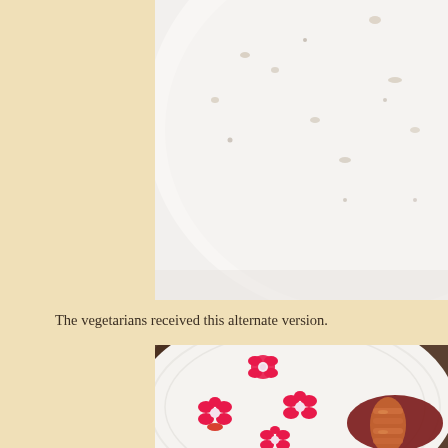[Figure (photo): Close-up of a white plate with small dark scattered garnishes on a white background, top portion of food presentation]
The vegetarians received this alternate version.
[Figure (photo): White plate with vibrant pink edible flowers scattered around and a glazed rolled meat/food item sitting in dark red sauce on the right side of the plate]